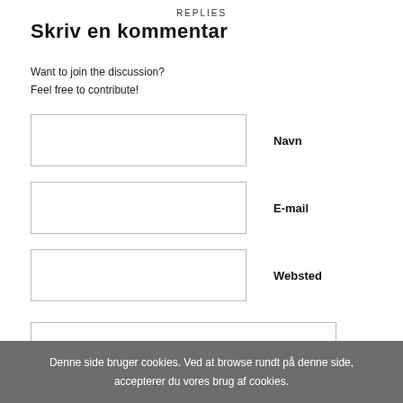REPLIES
Skriv en kommentar
Want to join the discussion?
Feel free to contribute!
Navn
E-mail
Websted
Denne side bruger cookies. Ved at browse rundt på denne side, accepterer du vores brug af cookies.